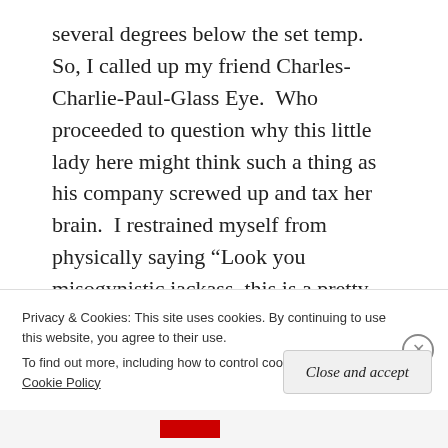several degrees below the set temp.  So, I called up my friend Charles-Charlie-Paul-Glass Eye.  Who proceeded to question why this little lady here might think such a thing as his company screwed up and tax her brain.  I restrained myself from physically saying “Look you misogynistic jackass, this is a pretty reasonable, basic deduction.”  However, I believe my tone as I explained the situation probably came across exactly as “Hey Jackass, I’m not trying to quantify a wormhole in the space time continuum here.  Stop being a jackass, you jackass,” and he quickly backpedaled to admit it was
Privacy & Cookies: This site uses cookies. By continuing to use this website, you agree to their use.
To find out more, including how to control cookies, see here: Cookie Policy